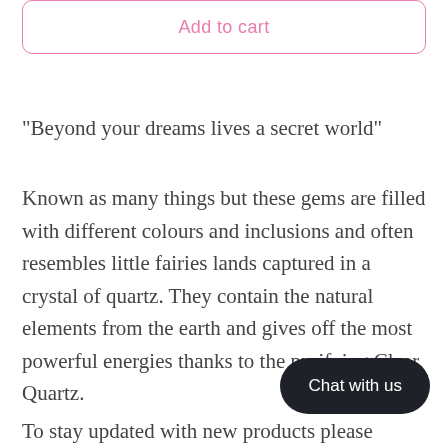Add to cart
"Beyond your dreams lives a secret world"
Known as many things but these gems are filled with different colours and inclusions and often resembles little fairies lands captured in a crystal of quartz. They contain the natural elements from the earth and gives off the most powerful energies thanks to the purifying Clear Quartz.
To stay updated with new products please